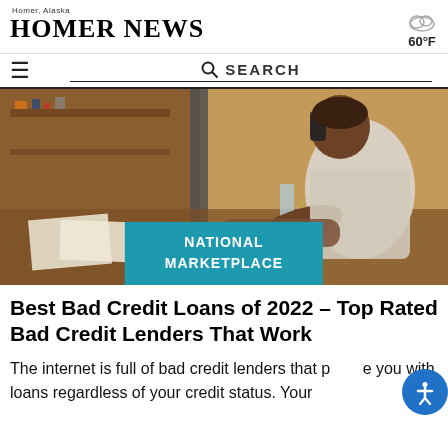Homer, Alaska — HOMER NEWS — 60°F
☰   🔍 SEARCH
[Figure (photo): Man in a workshop or studio talking on a phone while leaning over a desk covered with papers and tools. Overlaid category badge reads NATIONAL MARKETPLACE.]
Best Bad Credit Loans of 2022 – Top Rated Bad Credit Lenders That Work
The internet is full of bad credit lenders that provide you with loans regardless of your credit status. Your